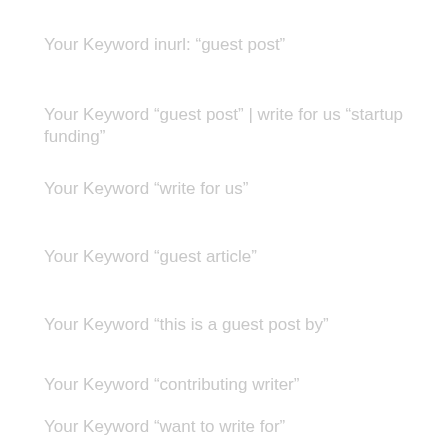Your Keyword inurl: “guest post”
Your Keyword “guest post” | write for us “startup funding”
Your Keyword “write for us”
Your Keyword “guest article”
Your Keyword “this is a guest post by”
Your Keyword “contributing writer”
Your Keyword “want to write for”